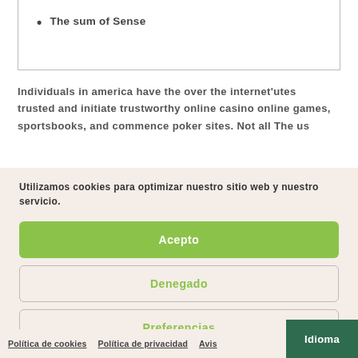The sum of Sense
Individuals in america have the over the internet'utes trusted and initiate trustworthy online casino online games, sportsbooks, and commence poker sites. Not all The us
Utilizamos cookies para optimizar nuestro sitio web y nuestro servicio.
Acepto
Denegado
Preferencias
Política de cookies   Política de privacidad   Avis...   Idioma